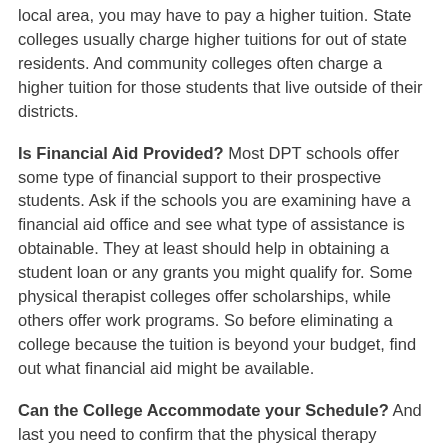local area, you may have to pay a higher tuition. State colleges usually charge higher tuitions for out of state residents. And community colleges often charge a higher tuition for those students that live outside of their districts.
Is Financial Aid Provided? Most DPT schools offer some type of financial support to their prospective students. Ask if the schools you are examining have a financial aid office and see what type of assistance is obtainable. They at least should help in obtaining a student loan or any grants you might qualify for. Some physical therapist colleges offer scholarships, while others offer work programs. So before eliminating a college because the tuition is beyond your budget, find out what financial aid might be available.
Can the College Accommodate your Schedule? And last you need to confirm that the physical therapy